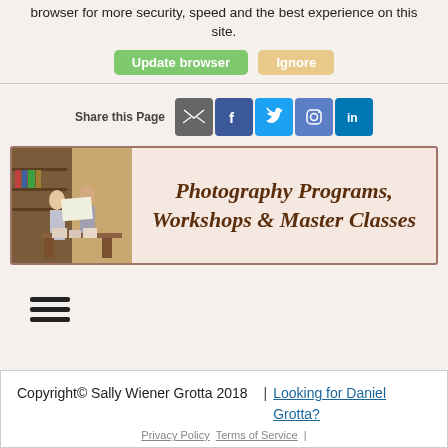browser for more security, speed and the best experience on this site.
[Figure (screenshot): Two green and tan buttons: 'Update browser' and 'Ignore']
[Figure (infographic): Share this Page with email, Facebook, Twitter, Instagram, LinkedIn icons]
[Figure (illustration): Photography Programs, Workshops & Master Classes banner with photo of two women reviewing prints]
[Figure (other): Hamburger menu icon (three horizontal lines)]
Copyright© Sally Wiener Grotta 2018 | Looking for Daniel Grotta? Privacy Policy Terms of Service |